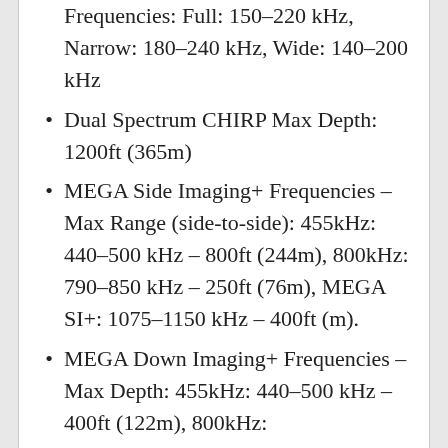Frequencies: Full: 150–220 kHz, Narrow: 180–240 kHz, Wide: 140–200 kHz
Dual Spectrum CHIRP Max Depth: 1200ft (365m)
MEGA Side Imaging+ Frequencies – Max Range (side-to-side): 455kHz: 440–500 kHz – 800ft (244m), 800kHz: 790–850 kHz – 250ft (76m), MEGA SI+: 1075–1150 kHz – 400ft (m).
MEGA Down Imaging+ Frequencies – Max Depth: 455kHz: 440–500 kHz – 400ft (122m), 800kHz: